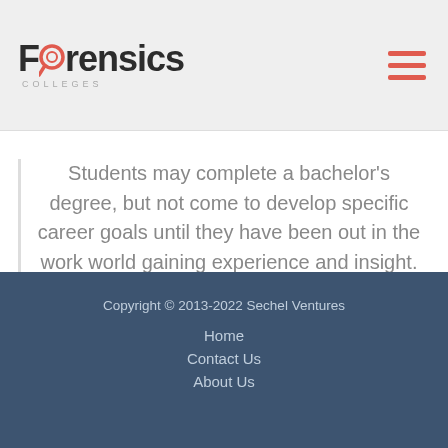[Figure (logo): Forensics Colleges logo with magnifying glass icon and 'COLLEGES' subtitle text]
Students may complete a bachelor's degree, but not come to develop specific career goals until they have been out in the work world gaining experience and insight.
Copyright © 2013-2022 Sechel Ventures
Home
Contact Us
About Us